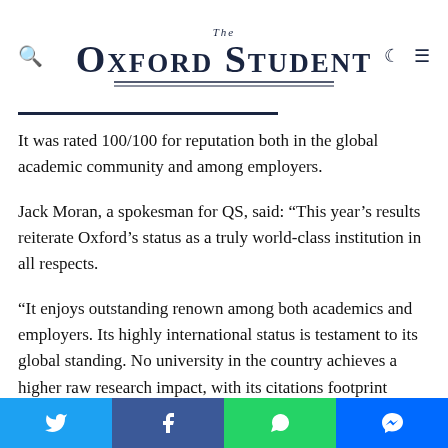The Oxford Student
It was rated 100/100 for reputation both in the global academic community and among employers.
Jack Moran, a spokesman for QS, said: “This year’s results reiterate Oxford’s status as a truly world-class institution in all respects.
“It enjoys outstanding renown among both academics and employers. Its highly international status is testament to its global standing. No university in the country achieves a higher raw research impact, with its citations footprint higher than all others.”
“However, for students at the university, it is equally important that the world-renowned tutorial system remains facilitated by one of the world’s lowest faculty-student ratios: in this respect,